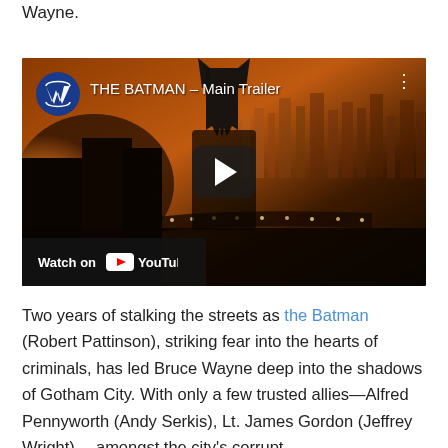Wayne.
[Figure (screenshot): YouTube video embed thumbnail for 'THE BATMAN – Main Trailer' showing a cinematic cityscape at dusk/dawn with a Batman silhouette. Includes WB logo, video title, play button, three-dot menu, and 'Watch on YouTube' bar at the bottom.]
Two years of stalking the streets as the Batman (Robert Pattinson), striking fear into the hearts of criminals, has led Bruce Wayne deep into the shadows of Gotham City. With only a few trusted allies—Alfred Pennyworth (Andy Serkis), Lt. James Gordon (Jeffrey Wright)— amongst the city's corrupt...